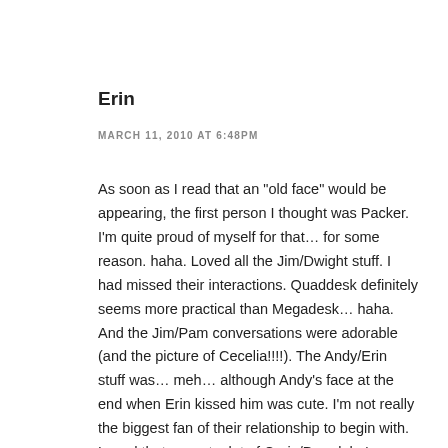Erin
MARCH 11, 2010 AT 6:48PM
As soon as I read that an "old face" would be appearing, the first person I thought was Packer. I'm quite proud of myself for that… for some reason. haha. Loved all the Jim/Dwight stuff. I had missed their interactions. Quaddesk definitely seems more practical than Megadesk… haha. And the Jim/Pam conversations were adorable (and the picture of Cecelia!!!!). The Andy/Erin stuff was… meh… although Andy's face at the end when Erin kissed him was cute. I'm not really the biggest fan of their relationship to begin with. Loved that we got a lot of Craig/Darryl, he's awesome. And I